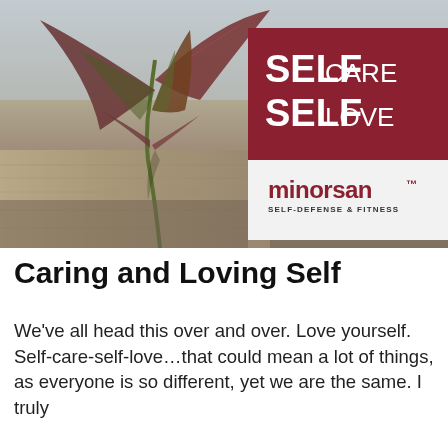[Figure (photo): A plant with dark reddish-purple leaves growing up through a wooden surface. The right side has a dark red banner with white text reading 'SELF CARE SELF LOVE' and a white box below with the Minorsan Self-Defense & Fitness logo.]
Caring and Loving Self
We've all head this over and over. Love yourself. Self-care-self-love...that could mean a lot of things, as everyone is so different, yet we are the same. I truly